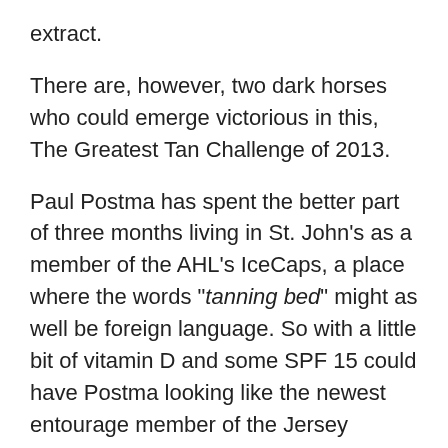extract.
There are, however, two dark horses who could emerge victorious in this, The Greatest Tan Challenge of 2013.
Paul Postma has spent the better part of three months living in St. John's as a member of the AHL's IceCaps, a place where the words "tanning bed" might as well be foreign language. So with a little bit of vitamin D and some SPF 15 could have Postma looking like the newest entourage member of the Jersey Shore.
The other possibility would be Mark Schiefele, a kid so pasty he's been mistaken for Wonder bread. If --and only if -- Scheifele finds a way to break the press-box curse will he be a true contender in this competition.